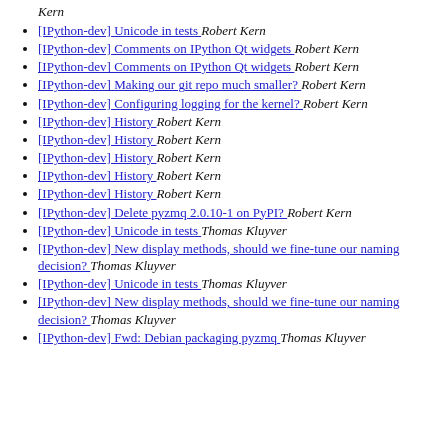Kern
[IPython-dev] Unicode in tests  Robert Kern
[IPython-dev] Comments on IPython Qt widgets  Robert Kern
[IPython-dev] Comments on IPython Qt widgets  Robert Kern
[IPython-dev] Making our git repo much smaller?  Robert Kern
[IPython-dev] Configuring logging for the kernel?  Robert Kern
[IPython-dev] History  Robert Kern
[IPython-dev] History  Robert Kern
[IPython-dev] History  Robert Kern
[IPython-dev] History  Robert Kern
[IPython-dev] History  Robert Kern
[IPython-dev] Delete pyzmq 2.0.10-1 on PyPI?  Robert Kern
[IPython-dev] Unicode in tests  Thomas Kluyver
[IPython-dev] New display methods, should we fine-tune our naming decision?  Thomas Kluyver
[IPython-dev] Unicode in tests  Thomas Kluyver
[IPython-dev] New display methods, should we fine-tune our naming decision?  Thomas Kluyver
[IPython-dev] Fwd: Debian packaging pyzmq  Thomas Kluyver